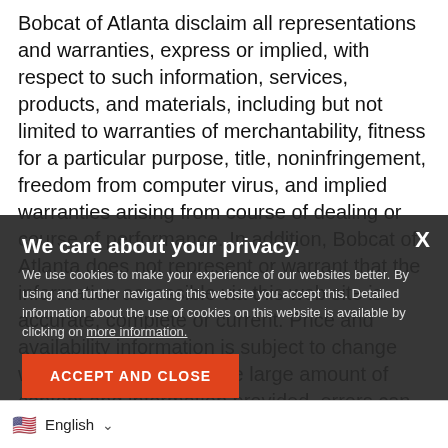Bobcat of Atlanta disclaim all representations and warranties, express or implied, with respect to such information, services, products, and materials, including but not limited to warranties of merchantability, fitness for a particular purpose, title, noninfringement, freedom from computer virus, and implied warranties arising from course of dealing or course of performance. In addition, Bobcat of Atlanta does not represent or warrant that the information accessible via this web site is accurate, complete or current. Price and availability information is subject to change without notice. Due to the large amount of content and information provided, errors can and will occur. By visiting this web site you agreed that Bobcat of Atlanta shall be held harmless for all liability and responsibility for any and all errors or omissions in the information provided on this web site. Bobcat of Atlanta is not required or obligated to honor any pricing that is incorrect or inaccurate, regardless of whether such information was entered by Bobcat of Atlanta
We care about your privacy.
We use cookies to make your experience of our websites better. By using and further navigating this website you accept this. Detailed information about the use of cookies on this website is available by clicking on more information.
ACCEPT AND CLOSE
English